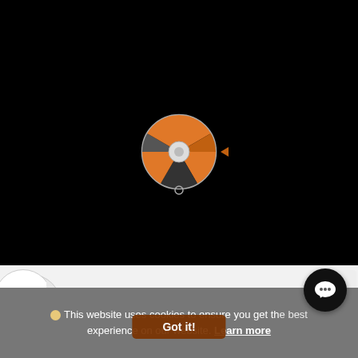[Figure (illustration): Black background area with a spinning prize wheel (roulette-style) in orange, dark grey, and black segments, centered in the upper portion of the page]
£17.10 £18.99
£18.00 £19.99
£1(truncated)
Arctic Ic(e truncated dropdown)
Salted C(aramel truncated dropdown)
Pin(truncated dropdown)
Add
Add
This website uses cookies to ensure you get the best experience on our website. Learn more